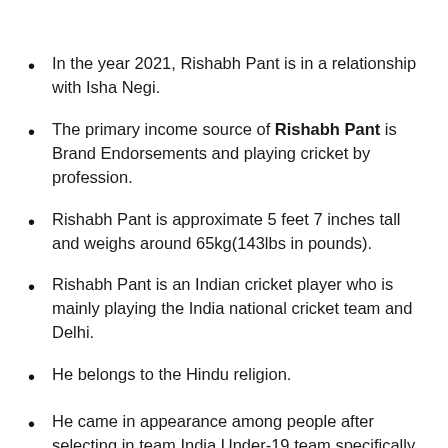In the year 2021, Rishabh Pant is in a relationship with Isha Negi.
The primary income source of Rishabh Pant is Brand Endorsements and playing cricket by profession.
Rishabh Pant is approximate 5 feet 7 inches tall and weighs around 65kg(143lbs in pounds).
Rishabh Pant is an Indian cricket player who is mainly playing the India national cricket team and Delhi.
He belongs to the Hindu religion.
He came in appearance among people after selecting in team India Under-19 team specifically and played for Delhi Daredevils in IPL.
The estimated Net Worth of Rishabh Pant is